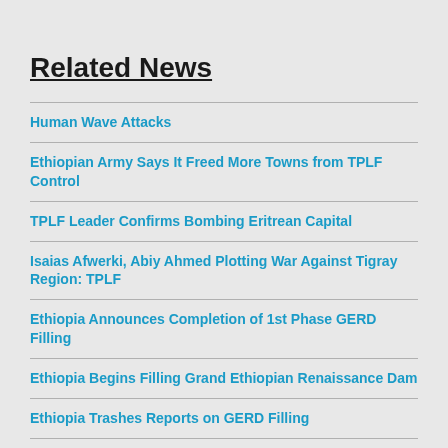Related News
Human Wave Attacks
Ethiopian Army Says It Freed More Towns from TPLF Control
TPLF Leader Confirms Bombing Eritrean Capital
Isaias Afwerki, Abiy Ahmed Plotting War Against Tigray Region: TPLF
Ethiopia Announces Completion of 1st Phase GERD Filling
Ethiopia Begins Filling Grand Ethiopian Renaissance Dam
Ethiopia Trashes Reports on GERD Filling
Ethiopia Accuses Egypt of Conducting Cyber Attacks on Key Institutions
Ethiopians Will Die Defending GERD Project: Deputy Army Chief
Ethiopia to Commence Filling GERD Reservoir Next July: